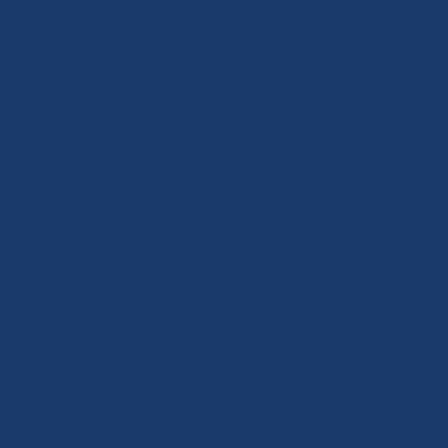ctic
c
ef
fe
ct
o
n
u
pr
isi
n
gs
.
[Figure (illustration): A cartoon-style icon showing a pink square face with round glasses and an open mouth expressing surprise, on a cream/beige background with a border]
P
er
s
o
n
Fr
o
m
P
or